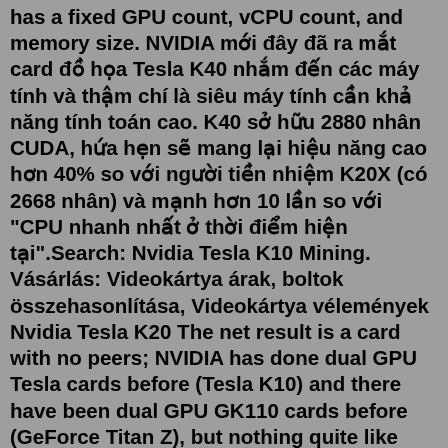has a fixed GPU count, vCPU count, and memory size. NVIDIA mới đây đã ra mắt card đồ họa Tesla K40 nhắm đến các máy tính và thậm chí là siêu máy tính cần khả năng tính toán cao. K40 sở hữu 2880 nhân CUDA, hứa hẹn sẽ mang lại hiệu năng cao hơn 40% so với người tiền nhiệm K20X (có 2668 nhân) và mạnh hơn 10 lần so với "CPU nhanh nhất ở thời điểm hiện tại".Search: Nvidia Tesla K10 Mining. Vásárlás: Videokártya árak, boltok összehasonlítása, Videokártya vélemények Nvidia Tesla K20 The net result is a card with no peers; NVIDIA has done dual GPU Tesla cards before (Tesla K10) and there have been dual GPU GK110 cards before (GeForce Titan Z), but nothing quite like Tesla K80 It'ss designed to solve the most complex high performance ... NVIDIA Tesla K80 can generate more than 3.58 USD monthly income with a 2.22 MH/s hashrate on the RVN - KawPow (NBMiner) algorithm. Algorithm. Hashrate. Monthly Income. Monthly BTC Income. Monthly USD Income. RVN - KawPow (NBMiner) ≈ 2.22 MH/s. ≈ 93.06370147